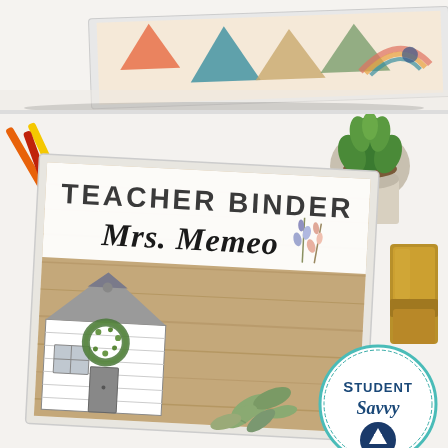[Figure (photo): Top portion: A desk scene with a white binder/folder showing a colorful abstract cover with geometric shapes in orange, teal, and warm tones. White background desk surface.]
[Figure (photo): Bottom portion: A Teacher Binder cover reading 'TEACHER BINDER Mrs. Memeo' with a farmhouse barn illustration in gray and white, a green wreath, sage green botanical leaves, and lavender/blush floral sprigs on a wood-grain background. On a white desk with colored pencils (orange, yellow, red) in upper left, a small succulent plant in upper right, a gold stapler on the right side, teal and purple markers lower right, and a 'Student Savvy' logo watermark circle in the lower right corner with an upward arrow icon.]